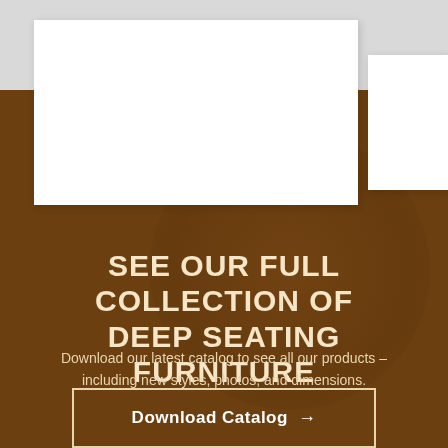[Figure (photo): White image card area with a partial second card to the right, on a brown background]
SEE OUR FULL COLLECTION OF DEEP SEATING FURNITURE
Download our latest catalog to see all our products – including new styles, photos, and dimensions.
Download Catalog →